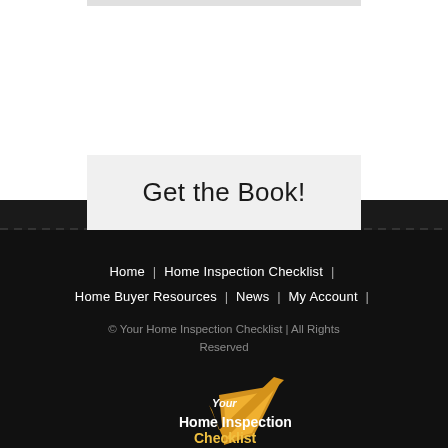Get the Book!
Home | Home Inspection Checklist | Home Buyer Resources | News | My Account |
© Your Home Inspection Checklist | All Rights Reserved
[Figure (logo): Your Home Inspection Checklist logo with gold checkmark and white/gold text]